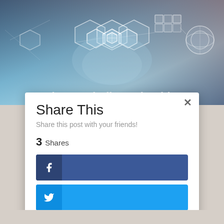[Figure (photo): Header image showing digital technology visualization with hexagonal patterns and blue glowing elements. Partially visible text at bottom reads 'The Metabolism Microbiome']
Share This
Share this post with your friends!
3 Shares
[Figure (screenshot): Facebook share button - dark blue rectangular button with Facebook 'f' icon on left side]
[Figure (screenshot): Twitter share button - light blue rectangular button with Twitter bird icon on left side]
[Figure (screenshot): LinkedIn share button - medium blue rectangular button with LinkedIn 'in' icon on left side]
[Figure (screenshot): Pinterest share button - red rectangular button with Pinterest 'p' icon on left side]